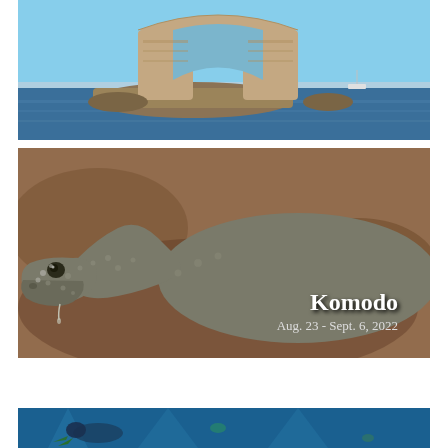[Figure (photo): A large natural rock arch formation (Darwin's Arch) rising from the ocean, with blue sky and ocean water visible around it. A boat can be seen in the distance.]
[Figure (photo): Close-up side profile of a Komodo dragon's head and upper body, showing its scaly grey skin, dark eye, and slightly open mouth with saliva dripping. Background shows reddish-brown rocky terrain out of focus. Text overlay reads 'Komodo' and 'Aug. 23 - Sept. 6, 2022'.]
[Figure (photo): Partial view of an underwater diving scene with blue water and a diver visible.]